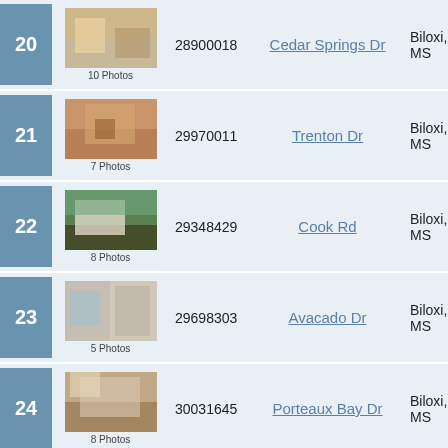| # | Photo | ID | Address | City |
| --- | --- | --- | --- | --- |
| 20 | 10 Photos | 28900018 | Cedar Springs Dr | Biloxi, MS |
| 21 | 7 Photos | 29970011 | Trenton Dr | Biloxi, MS |
| 22 | 8 Photos | 29348429 | Cook Rd | Biloxi, MS |
| 23 | 5 Photos | 29698303 | Avacado Dr | Biloxi, MS |
| 24 | 8 Photos | 30031645 | Porteaux Bay Dr | Biloxi, MS |
| 25 | 9 Photos | 29497623 | Three Rivers Rd | Biloxi, MS |
NOTICE
Our site does not guarantee the availability of any property listed herein. The